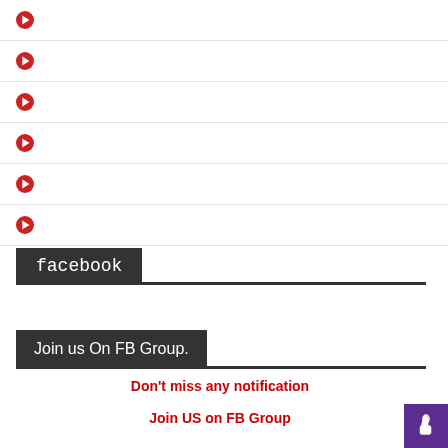facebook
Join us On FB Group.
Don't miss any notification
Join US on FB Group